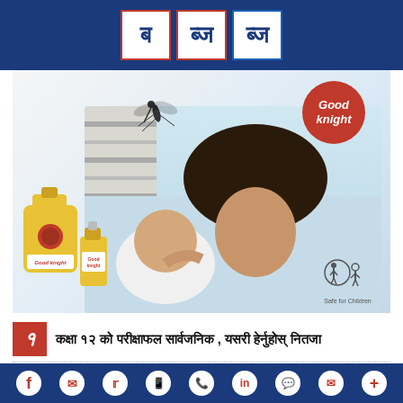ब ब्ज ब्ज
[Figure (photo): Good Knight mosquito repellent advertisement showing a mother smiling with her baby on a bed, with Good Knight products (electric vaporizer and refill bottle) in the foreground and a mosquito silhouette. Good Knight logo in red circle top right. Safe for Children icon bottom right.]
१ कक्षा १२ को परीक्षाफल सार्वजनिक , यसरी हेर्नुहोस् नितजा
f  messenger  twitter  whatsapp  phone  in  chat  email  +